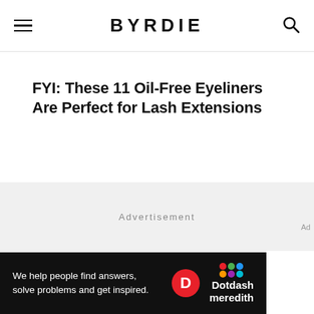BYRDIE
FYI: These 11 Oil-Free Eyeliners Are Perfect for Lash Extensions
Advertisement
Ad
We help people find answers, solve problems and get inspired. Dotdash meredith